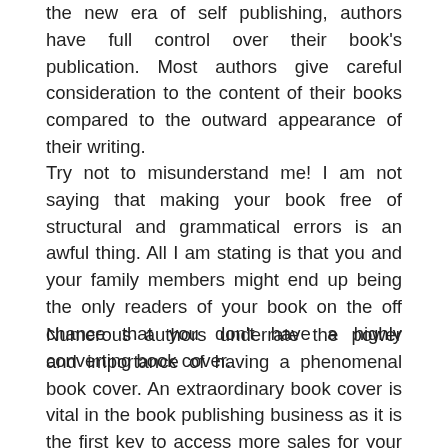the new era of self publishing, authors have full control over their book's publication. Most authors give careful consideration to the content of their books compared to the outward appearance of their writing.
Try not to misunderstand me! I am not saying that making your book free of structural and grammatical errors is an awful thing. All I am stating is that you and your family members might end up being the only readers of your book on the off chance that you don't have a highly converting book cover.
Numerous authors underrate the power and importance of having a phenomenal book cover. An extraordinary book cover is vital in the book publishing business as it is the first key to access more sales for your book. Getting a book cover can be inexpensive if you have the right resource and knowledge in place